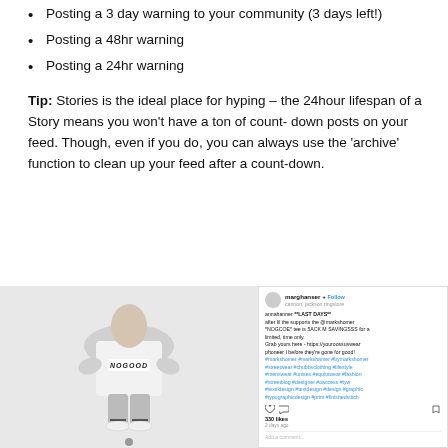Posting a 3 day warning to your community (3 days left!)
Posting a 48hr warning
Posting a 24hr warning
Tip: Stories is the ideal place for hyping – the 24hour lifespan of a Story means you won't have a ton of count-down posts on your feed. Though, even if you do, you can always use the 'archive' function to clean up your feed after a count-down.
[Figure (screenshot): Instagram post screenshot showing a person wearing a 'NOGOOD' t-shirt seated, alongside the Instagram post content with caption about last days sale, hashtags, likes (330), and comment box.]